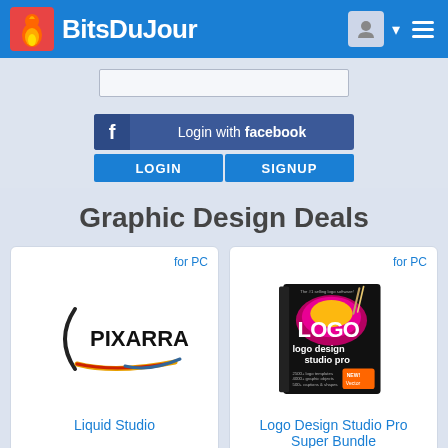BitsDuJour
[Figure (screenshot): Search input box]
[Figure (screenshot): Login with Facebook button, LOGIN and SIGNUP buttons]
Graphic Design Deals
[Figure (logo): Pixarra logo with stylized parenthesis and colored brush stroke]
for PC
Liquid Studio
[Figure (photo): Logo Design Studio Pro Super Bundle software box]
for PC
Logo Design Studio Pro Super Bundle